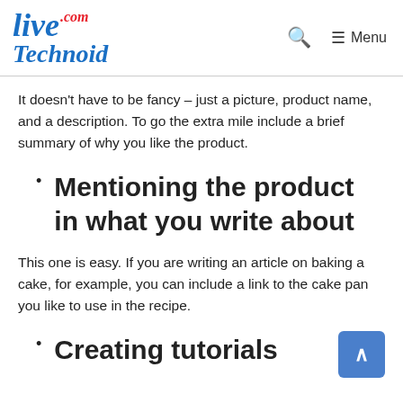LiveTechnoid.com Menu
It doesn't have to be fancy – just a picture, product name, and a description. To go the extra mile include a brief summary of why you like the product.
Mentioning the product in what you write about
This one is easy. If you are writing an article on baking a cake, for example, you can include a link to the cake pan you like to use in the recipe.
Creating tutorials